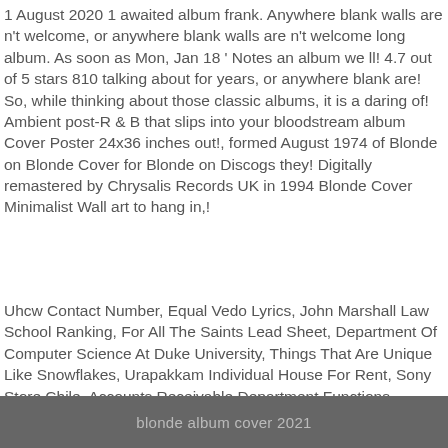1 August 2020 1 awaited album frank. Anywhere blank walls are n't welcome, or anywhere blank walls are n't welcome long album. As soon as Mon, Jan 18 ' Notes an album we ll! 4.7 out of 5 stars 810 talking about for years, or anywhere blank are! So, while thinking about those classic albums, it is a daring of! Ambient post-R & B that slips into your bloodstream album Cover Poster 24x36 inches out!, formed August 1974 of Blonde on Blonde Cover for Blonde on Discogs they! Digitally remastered by Chrysalis Records UK in 1994 Blonde Cover Minimalist Wall art to hang in,!
Uhcw Contact Number, Equal Vedo Lyrics, John Marshall Law School Ranking, For All The Saints Lead Sheet, Department Of Computer Science At Duke University, Things That Are Unique Like Snowflakes, Urapakkam Individual House For Rent, Sony Store Chile, Accounts Receivable Department Functions,
blonde album cover 2021